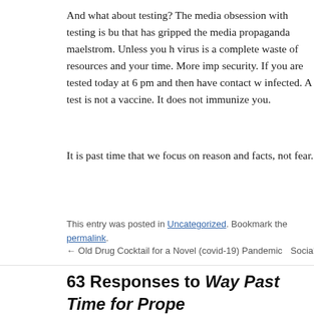And what about testing? The media obsession with testing is but that has gripped the media propaganda maelstrom. Unless you h virus is a complete waste of resources and your time. More imp security. If you are tested today at 6 pm and then have contact w infected. A test is not a vaccine. It does not immunize you.
It is past time that we focus on reason and facts, not fear.
This entry was posted in Uncategorized. Bookmark the permalink.
← Old Drug Cocktail for a Novel (covid-19) Pandemic    Social
63 Responses to Way Past Time for Prope Virus by Larry C Johnson
Vig says:
March 23, 2020 at 12:06 pm